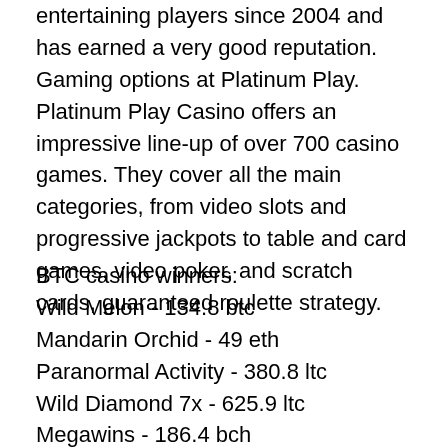entertaining players since 2004 and has earned a very good reputation. Gaming options at Platinum Play. Platinum Play Casino offers an impressive line-up of over 700 casino games. They cover all the main categories, from video slots and progressive jackpots to table and card games, video poker, and scratch cards, guaranteed roulette strategy.
BTC casino winners:
Wild Melon - 134.8 btc
Mandarin Orchid - 49 eth
Paranormal Activity - 380.8 ltc
Wild Diamond 7x - 625.9 ltc
Megawins - 186.4 bch
Ocean Princess - 507.1 eth
Avalon - 634.1 bch
The Great Conflict - 430.5 ltc
Aztec Gold - 440.2 usdt
Basketball Star - 613.5 bch